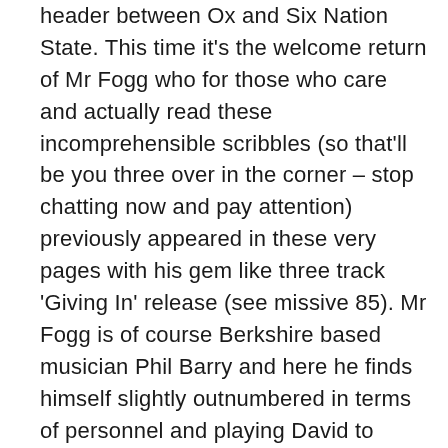header between Ox and Six Nation State. This time it's the welcome return of Mr Fogg who for those who care and actually read these incomprehensible scribbles (so that'll be you three over in the corner – stop chatting now and pay attention) previously appeared in these very pages with his gem like three track 'Giving In' release (see missive 85). Mr Fogg is of course Berkshire based musician Phil Barry and here he finds himself slightly outnumbered in terms of personnel and playing David to Glasgow / London based quintet Parka's Goliath or so it would seem. Returning from an appearance at the Reading festival Mr Fogg sweetly shuffles into our listening space with 'Seciov', more beautifully bruised frailty crafted from the workshop of Mr Barry who it seems has something of a talent for sculpturing tenaciously timid pop that attaches to the senses and immediately has the nerve